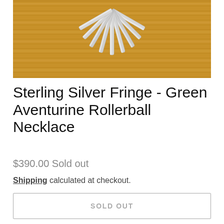[Figure (photo): Sterling silver fringe necklace components arranged on a wooden surface, showing multiple elongated silver bar pieces fanned out.]
Sterling Silver Fringe - Green Aventurine Rollerball Necklace
$390.00 Sold out
Shipping calculated at checkout.
SOLD OUT